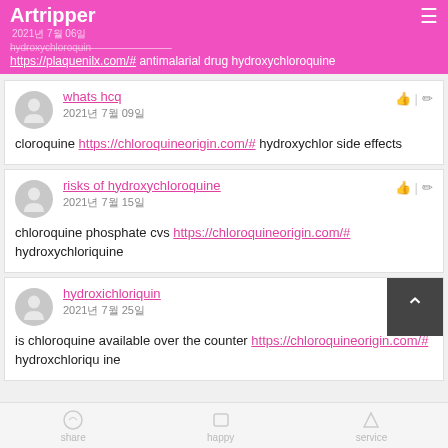Artripper
2021년 7월 06일
hydroxychloroquin https://plaquenilx.com/# antimalarial drug hydroxychloroquine
cloroquine https://chloroquineorigin.com/# hydroxychlor side effects
whats hcq
2021년 7월 09일
risks of hydroxychloroquine
2021년 7월 15일
chloroquine phosphate cvs https://chloroquineorigin.com/# hydroxychloriquine
hydroxichloriquin
2021년 7월 25일
is chloroquine available over the counter https://chloroquineorigin.com/# hydroxchloriqu ine
share  happy  service